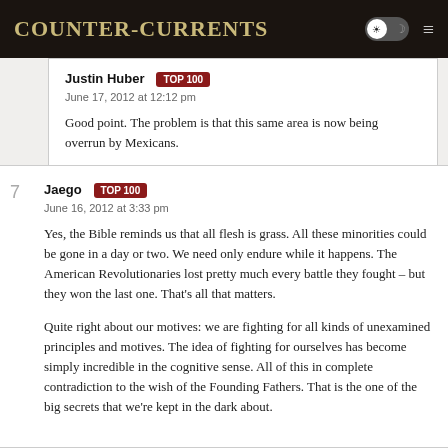Counter-Currents
Justin Huber TOP 100
June 17, 2012 at 12:12 pm

Good point. The problem is that this same area is now being overrun by Mexicans.
7 Jaego TOP 100
June 16, 2012 at 3:33 pm

Yes, the Bible reminds us that all flesh is grass. All these minorities could be gone in a day or two. We need only endure while it happens. The American Revolutionaries lost pretty much every battle they fought – but they won the last one. That's all that matters.

Quite right about our motives: we are fighting for all kinds of unexamined principles and motives. The idea of fighting for ourselves has become simply incredible in the cognitive sense. All of this in complete contradiction to the wish of the Founding Fathers. That is the one of the big secrets that we're kept in the dark about.